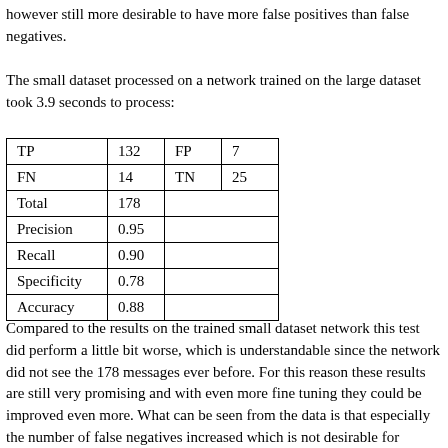however still more desirable to have more false positives than false negatives.
The small dataset processed on a network trained on the large dataset took 3.9 seconds to process:
| TP | 132 | FP | 7 |
| FN | 14 | TN | 25 |
| Total | 178 |  |  |
| Precision | 0.95 |  |  |
| Recall | 0.90 |  |  |
| Specificity | 0.78 |  |  |
| Accuracy | 0.88 |  |  |
Compared to the results on the trained small dataset network this test did perform a little bit worse, which is understandable since the network did not see the 178 messages ever before. For this reason these results are still very promising and with even more fine tuning they could be improved even more. What can be seen from the data is that especially the number of false negatives increased which is not desirable for reasons described earlier in this subsection.